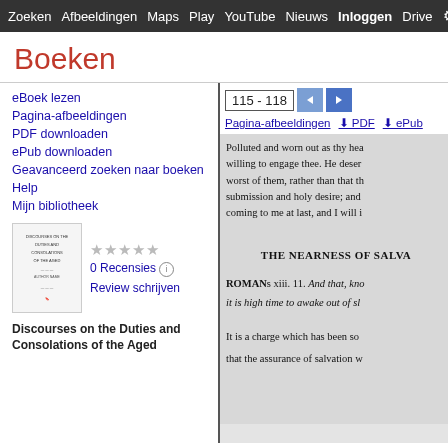Zoeken  Afbeeldingen  Maps  Play  YouTube  Nieuws  Inloggen  Drive  M
Boeken
eBoek lezen
Pagina-afbeeldingen
PDF downloaden
ePub downloaden
Geavanceerd zoeken naar boeken
Help
Mijn bibliotheek
[Figure (illustration): Thumbnail of book cover for Discourses on the Duties and Consolations of the Aged]
0 Recensies  Review schrijven
Discourses on the Duties and Consolations of the Aged
115 - 118
Pagina-afbeeldingen  PDF  ePub
Polluted and worn out as thy hea willing to engage thee. He deser worst of them, rather than that th submission and holy desire; and coming to me at last, and I will i
THE NEARNESS OF SALVA
ROMANs xiii. 11. And that, kno it is high time to awake out of sl
It is a charge which has been so that the assurance of salvation w